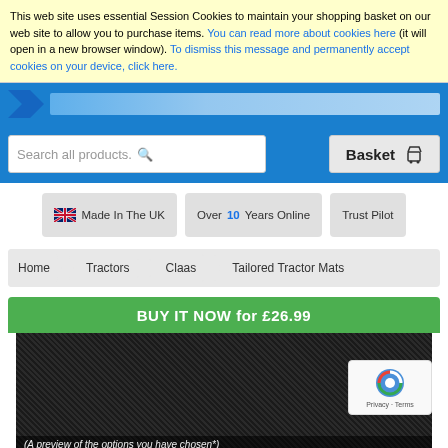This web site uses essential Session Cookies to maintain your shopping basket on our web site to allow you to purchase items. You can read more about cookies here (it will open in a new browser window). To dismiss this message and permanently accept cookies on your device, click here.
[Figure (screenshot): Website header with blue logo bar showing chevron icon and site name text]
[Figure (screenshot): Search bar with 'Search all products.' placeholder and magnifying glass icon, plus Basket button with shopping cart icon]
[Figure (screenshot): Three badge buttons: UK flag with 'Made In The UK', 'Over 10 Years Online', and 'Trust Pilot']
Home > Tractors > Claas > Tailored Tractor Mats
BUY IT NOW for £26.99
[Figure (photo): Dark black rubber mat texture product image]
(A preview of the options you have chosen*)
A10)
[Figure (screenshot): reCAPTCHA Privacy - Terms badge]